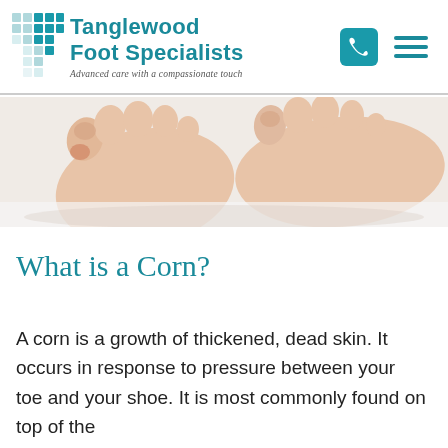Tanglewood Foot Specialists — Advanced care with a compassionate touch
[Figure (photo): Close-up photograph of two feet showing toes, with visible redness/corn on one toe, against a white background.]
What is a Corn?
A corn is a growth of thickened, dead skin. It occurs in response to pressure between your toe and your shoe. It is most commonly found on top of the